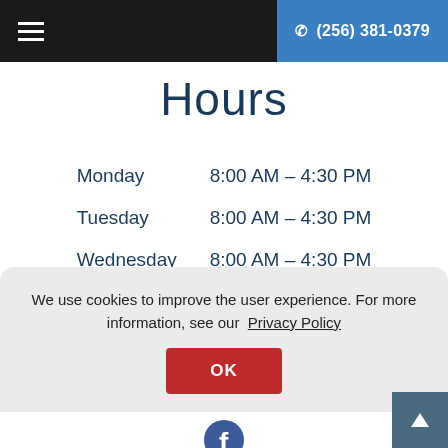☰  ✆ (256) 381-0379
Hours
| Day | Hours |
| --- | --- |
| Monday | 8:00 AM – 4:30 PM |
| Tuesday | 8:00 AM – 4:30 PM |
| Wednesday | 8:00 AM – 4:30 PM |
| Thursday | 8:00 AM – 4:30 PM |
| Friday | 8:00 AM – 4:30 PM |
We use cookies to improve the user experience. For more information, see our Privacy Policy
OK